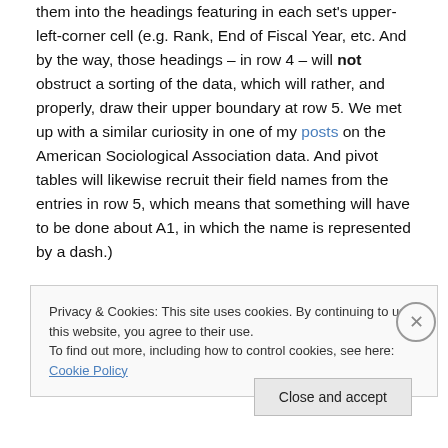them into the headings featuring in each set's upper-left-corner cell (e.g. Rank, End of Fiscal Year, etc. And by the way, those headings – in row 4 – will not obstruct a sorting of the data, which will rather, and properly, draw their upper boundary at row 5. We met up with a similar curiosity in one of my posts on the American Sociological Association data. And pivot tables will likewise recruit their field names from the entries in row 5, which means that something will have to be done about A1, in which the name is represented by a dash.)
Privacy & Cookies: This site uses cookies. By continuing to use this website, you agree to their use. To find out more, including how to control cookies, see here: Cookie Policy